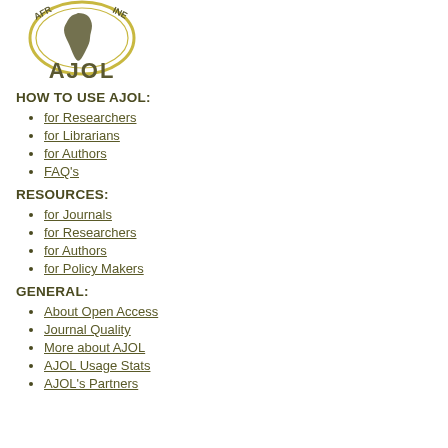[Figure (logo): AJOL (African Journals Online) logo with circular emblem showing map of Africa and text 'AJOL' in olive/dark gold color]
HOW TO USE AJOL:
for Researchers
for Librarians
for Authors
FAQ's
RESOURCES:
for Journals
for Researchers
for Authors
for Policy Makers
GENERAL:
About Open Access
Journal Quality
More about AJOL
AJOL Usage Stats
AJOL's Partners